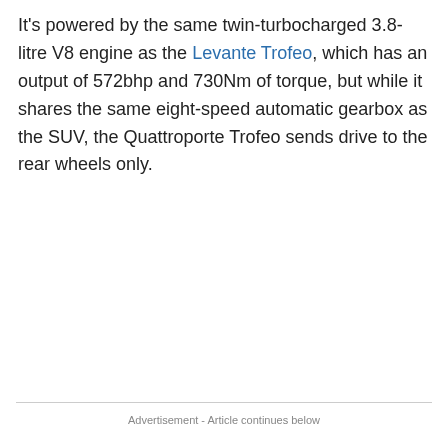It's powered by the same twin-turbocharged 3.8-litre V8 engine as the Levante Trofeo, which has an output of 572bhp and 730Nm of torque, but while it shares the same eight-speed automatic gearbox as the SUV, the Quattroporte Trofeo sends drive to the rear wheels only.
Advertisement - Article continues below